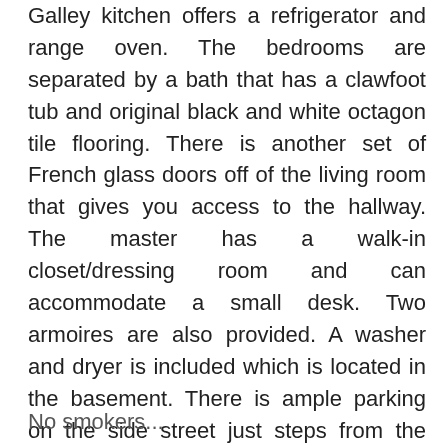Galley kitchen offers a refrigerator and range oven. The bedrooms are separated by a bath that has a clawfoot tub and original black and white octagon tile flooring. There is another set of French glass doors off of the living room that gives you access to the hallway. The master has a walk-in closet/dressing room and can accommodate a small desk. Two armoires are also provided. A washer and dryer is included which is located in the basement. There is ample parking on the side street just steps from the entrance. Close to restaurants, boutiques, coffee shops, Loyola and Tulane universities!
No smokers...